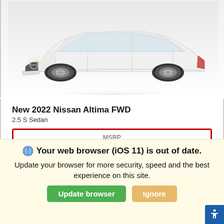[Figure (photo): White Nissan Altima sedan, front three-quarter view, on white/light gray background]
New 2022 Nissan Altima FWD
2.5 S Sedan
| MSRP |
| --- |
| $26,340 |
ETA of 2022-09-04*
In-Transit Coming Soon
Your web browser (iOS 11) is out of date. Update your browser for more security, speed and the best experience on this site.
Update browser
Ignore